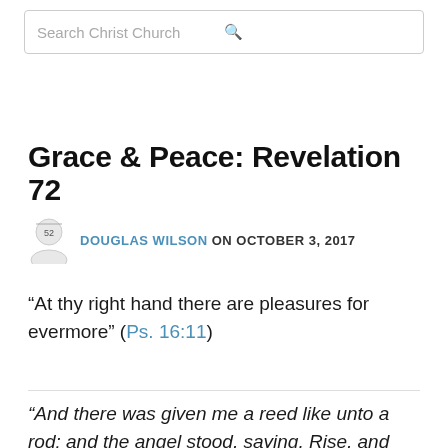Search Christ Church
Grace & Peace: Revelation 72
DOUGLAS WILSON ON OCTOBER 3, 2017
“At thy right hand there are pleasures for evermore” (Ps. 16:11)
“And there was given me a reed like unto a rod: and the angel stood, saying, Rise, and